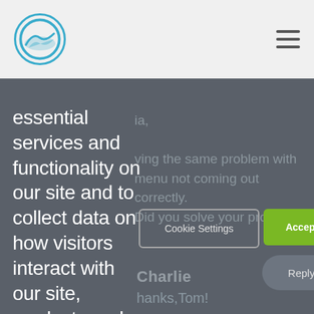[Figure (logo): Circular logo with mountain/wave icon in teal/blue tones]
[Figure (other): Hamburger menu icon (three horizontal lines)]
essential services and functionality on our site and to collect data on how visitors interact with our site, products and services. By clicking Accept or continuing to use this site, you agree to our use of these tools for advertising and analytics
...having the same problem with menu not coming out correctly. Did you solve your problem?
Cookie Settings
Accept Cookies
Reply
Charlie
Thanks,Tom!